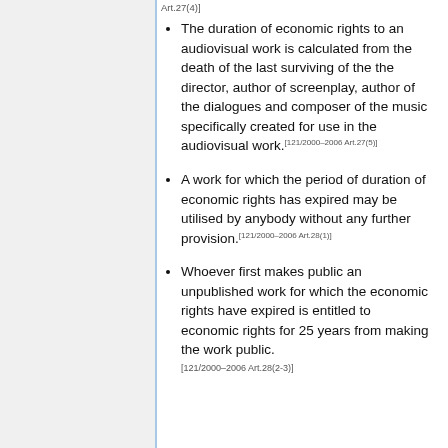The duration of economic rights to an audiovisual work is calculated from the death of the last surviving of the the director, author of screenplay, author of the dialogues and composer of the music specifically created for use in the audiovisual work.[121/2000–2006 Art.27(5)]
A work for which the period of duration of economic rights has expired may be utilised by anybody without any further provision.[121/2000–2006 Art.28(1)]
Whoever first makes public an unpublished work for which the economic rights have expired is entitled to economic rights for 25 years from making the work public.[121/2000–2006 Art.28(2-3)]